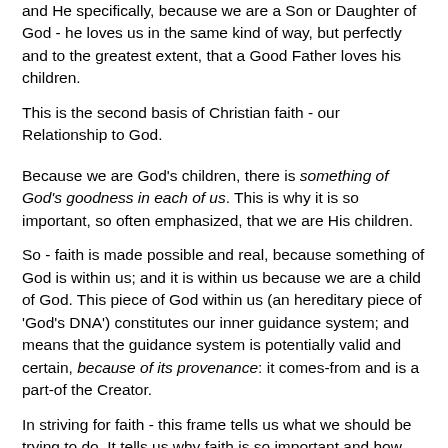and He specifically, because we are a Son or Daughter of God - he loves us in the same kind of way, but perfectly and to the greatest extent, that a Good Father loves his children.
This is the second basis of Christian faith - our Relationship to God.
Because we are God's children, there is something of God's goodness in each of us. This is why it is so important, so often emphasized, that we are His children.
So - faith is made possible and real, because something of God is within us; and it is within us because we are a child of God. This piece of God within us (an hereditary piece of 'God's DNA') constitutes our inner guidance system; and means that the guidance system is potentially valid and certain, because of its provenance: it comes-from and is a part-of the Creator.
In striving for faith - this frame tells us what we should be trying to do. It tells us why faith is so important and how faith can be so strong: faith is important because it is our true...